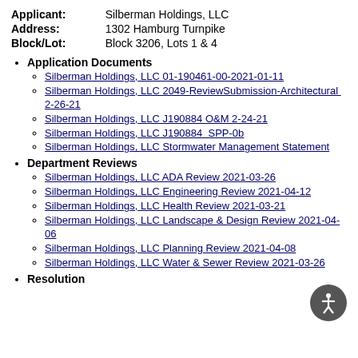Applicant: Silberman Holdings, LLC
Address: 1302 Hamburg Turnpike
Block/Lot: Block 3206, Lots 1 & 4
Application Documents
Silberman Holdings, LLC 01-190461-00-2021-01-11
Silberman Holdings, LLC 2049-ReviewSubmission-Architectural 2-26-21
Silberman Holdings, LLC J190884 O&M 2-24-21
Silberman Holdings, LLC J190884 SPP-0b
Silberman Holdings, LLC Stormwater Management Statement
Department Reviews
Silberman Holdings, LLC ADA Review 2021-03-26
Silberman Holdings, LLC Engineering Review 2021-04-12
Silberman Holdings, LLC Health Review 2021-03-21
Silberman Holdings, LLC Landscape & Design Review 2021-04-06
Silberman Holdings, LLC Planning Review 2021-04-08
Silberman Holdings, LLC Water & Sewer Review 2021-03-26
Resolution